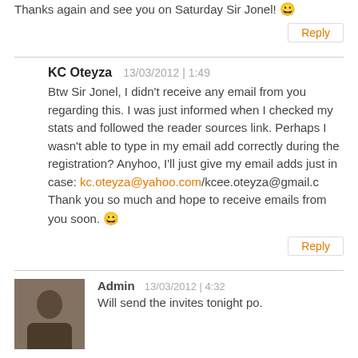Thanks again and see you on Saturday Sir Jonel! 😀
Reply
KC Oteyza   13/03/2012 | 1:49
Btw Sir Jonel, I didn't receive any email from you regarding this. I was just informed when I checked my stats and followed the reader sources link. Perhaps I wasn't able to type in my email add correctly during the registration? Anyhoo, I'll just give my email adds just in case: kc.oteyza@yahoo.com/kcee.oteyza@gmail.c Thank you so much and hope to receive emails from you soon. 😀
Reply
Admin   13/03/2012 | 4:32
Will send the invites tonight po.